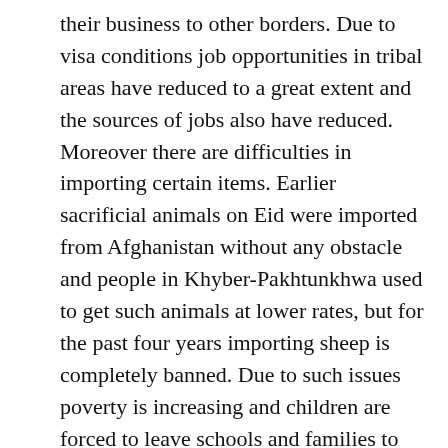their business to other borders. Due to visa conditions job opportunities in tribal areas have reduced to a great extent and the sources of jobs also have reduced. Moreover there are difficulties in importing certain items. Earlier sacrificial animals on Eid were imported from Afghanistan without any obstacle and people in Khyber-Pakhtunkhwa used to get such animals at lower rates, but for the past four years importing sheep is completely banned. Due to such issues poverty is increasing and children are forced to leave schools and families to starve in Khyber-Pakhtunkhwa. (Aeen)
5. Awami National Party (ANP) senior leader, and Member of the National Assembly Ameer Haidar Hoti said that entire Pakistan is suffering due to